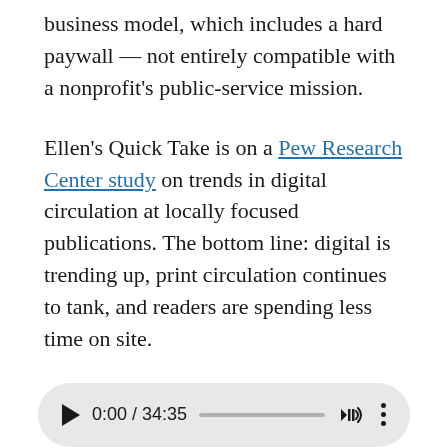business model, which includes a hard paywall — not entirely compatible with a nonprofit's public-service mission.
Ellen's Quick Take is on a Pew Research Center study on trends in digital circulation at locally focused publications. The bottom line: digital is trending up, print circulation continues to tank, and readers are spending less time on site.
[Figure (other): Audio player widget showing 0:00 / 34:35 with play button, progress bar, volume icon, and options icon on a rounded gray background.]
Episode 31: Dr. Meredith Clark